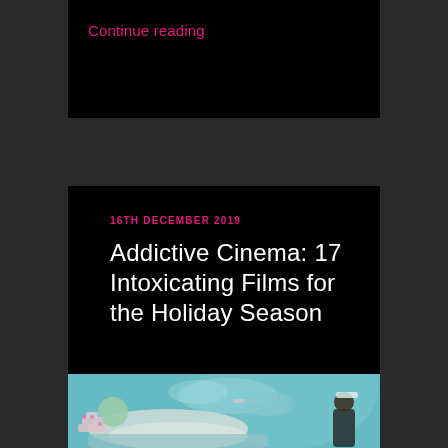Continue reading
16TH DECEMBER 2019
Addictive Cinema: 17 Intoxicating Films for the Holiday Season
[Figure (photo): A woman in white dress reclining on a chaise with a tiered cake, while a person in black dress attends to her feet; a large face blowing smoke visible in the background. Teal/cyan color palette.]